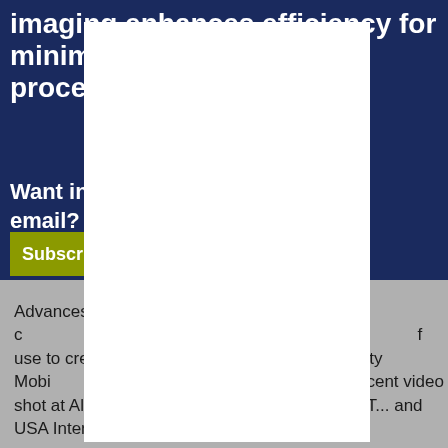imaging enhances efficiency for minimal... proce...
Want insi... to your email?
Subscrib
Advances i... the growth of c... takes both super... f use to create an e... Veradius Unity Mobi... of that experience. In a recent video shot at Alabama Heart and Vascular Medicine, T... and USA International...